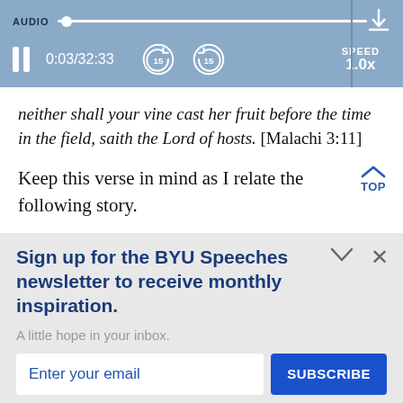[Figure (screenshot): Audio player bar with blue background showing AUDIO label, progress bar with dot, pause button, time display 0:03/32:33, rewind 15s, forward 15s, SPEED 1.0x, download icon, and vertical divider]
neither shall your vine cast her fruit before the time in the field, saith the Lord of hosts. [Malachi 3:11]
Keep this verse in mind as I relate the following story.
Sign up for the BYU Speeches newsletter to receive monthly inspiration.
A little hope in your inbox.
Enter your email